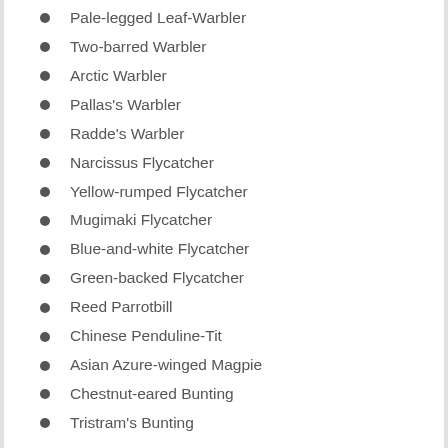Pale-legged Leaf-Warbler
Two-barred Warbler
Arctic Warbler
Pallas's Warbler
Radde's Warbler
Narcissus Flycatcher
Yellow-rumped Flycatcher
Mugimaki Flycatcher
Blue-and-white Flycatcher
Green-backed Flycatcher
Reed Parrotbill
Chinese Penduline-Tit
Asian Azure-winged Magpie
Chestnut-eared Bunting
Tristram's Bunting